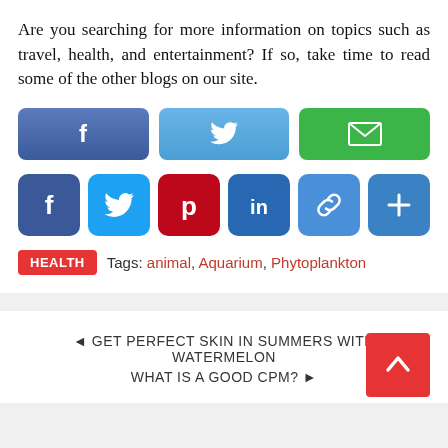Are you searching for more information on topics such as travel, health, and entertainment? If so, take time to read some of the other blogs on our site.
[Figure (infographic): Three large share buttons: Facebook (blue gradient), Twitter (light blue gradient), Email/envelope (green)]
[Figure (infographic): Six small square social share buttons: Facebook (dark blue), Twitter (light blue), Pinterest (red), LinkedIn (blue), Link (blue), Plus/More (blue)]
HEALTH   Tags: animal, Aquarium, Phytoplankton
◄ GET PERFECT SKIN IN SUMMERS WITH WATERMELON
WHAT IS A GOOD CPM? ►